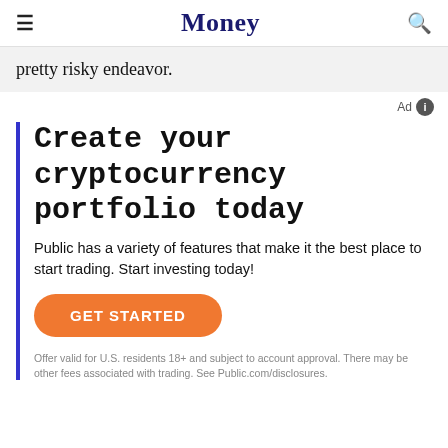Money
pretty risky endeavor.
[Figure (other): Advertisement block with blue left border. Headline: 'Create your cryptocurrency portfolio today'. Subtext: 'Public has a variety of features that make it the best place to start trading. Start investing today!' Orange 'GET STARTED' button. Ad label with info icon in top right.]
Offer valid for U.S. residents 18+ and subject to account approval. There may be other fees associated with trading. See Public.com/disclosures.